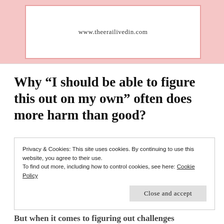[Figure (other): Pink banner with white inner rectangle showing the website URL www.theerailivedin.com]
Why “I should be able to figure this out on my own” often does more harm than good?
As a self-help junkie, I know how exhilarating it is to decide to figure out everything on our own. When it comes to researching and
Privacy & Cookies: This site uses cookies. By continuing to use this website, you agree to their use.
To find out more, including how to control cookies, see here: Cookie Policy
Close and accept
But when it comes to figuring out challenges